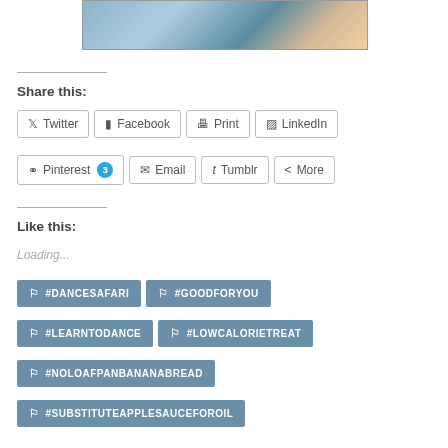[Figure (photo): Group of young people in a car, smiling, with arms raised, outdoors on a road trip]
Share this:
Twitter | Facebook | Print | LinkedIn
Pinterest 3 | Email | Tumblr | More
Like this:
Loading...
#DANCESAFARI  #GOODFORYOU  #LEARNTODANCE  #LOWCALORIETREAT  #NOLOAFPANBANANABREAD  #SUBSTITUTEAPPLESAUCEFOROIL